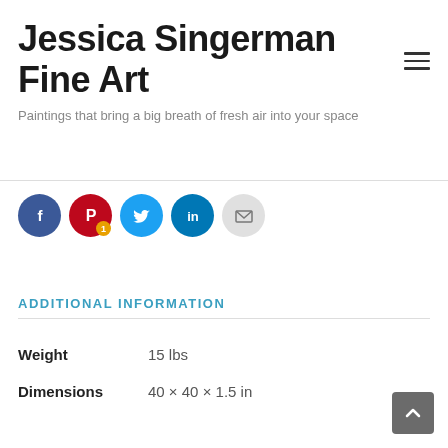Jessica Singerman Fine Art
Paintings that bring a big breath of fresh air into your space
[Figure (infographic): Social sharing icons row: Facebook (blue circle), Pinterest (red circle with badge '1'), Twitter (cyan circle), LinkedIn (teal circle), Email (gray circle)]
ADDITIONAL INFORMATION
| Weight | 15 lbs |
| Dimensions | 40 × 40 × 1.5 in |